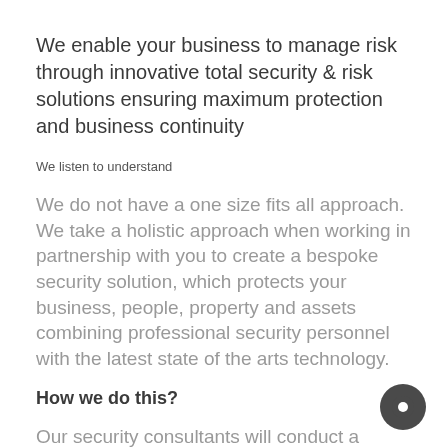We enable your business to manage risk through innovative total security & risk solutions ensuring maximum protection and business continuity
We listen to understand
We do not have a one size fits all approach. We take a holistic approach when working in partnership with you to create a bespoke security solution, which protects your business, people, property and assets combining professional security personnel with the latest state of the arts technology.
How we do this?
Our security consultants will conduct a thorough security risk analysis of your